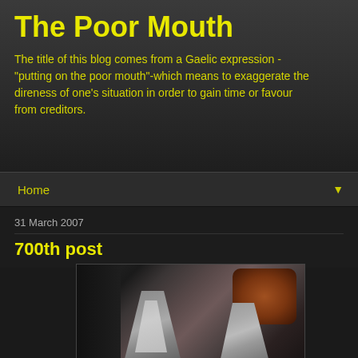The Poor Mouth
The title of this blog comes from a Gaelic expression - "putting on the poor mouth"-which means to exaggerate the direness of one's situation in order to gain time or favour from creditors.
Home
31 March 2007
700th post
[Figure (photo): Close-up photo of the top of a grey cat's head showing ears, with a blurred brownish background]